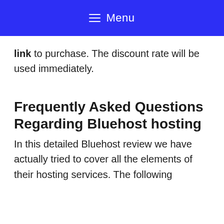≡ Menu
link to purchase. The discount rate will be used immediately.
Frequently Asked Questions Regarding Bluehost hosting
In this detailed Bluehost review we have actually tried to cover all the elements of their hosting services. The following